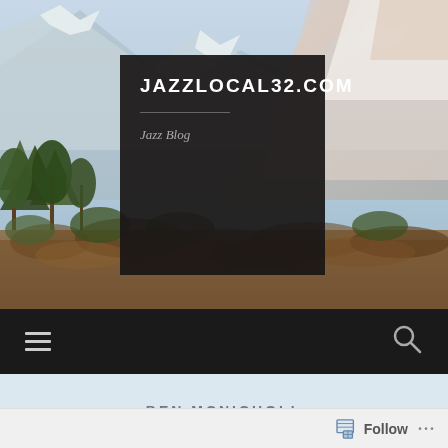[Figure (screenshot): Website screenshot of jazzlocal32.com jazz blog homepage. Background photo shows snow-capped mountains with green/brown vegetation in foreground. A dark semi-transparent banner overlays the center with the site title and tagline. Below is a dark navigation bar with hamburger menu and search icon. Content area shows author name BEN MCNICHOLL on a light blue background. Bottom shows a Follow bar.]
JAZZLOCAL32.COM
Jazz Blog
BEN MCNICHOLL